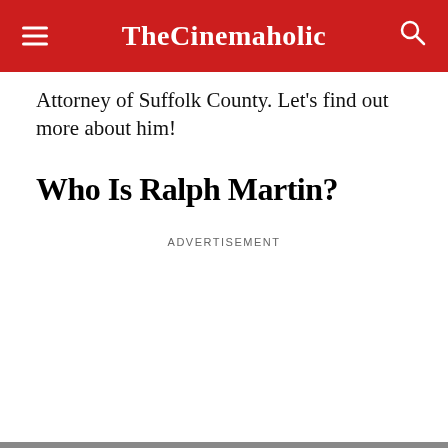TheCinemaholic
Attorney of Suffolk County. Let's find out more about him!
Who Is Ralph Martin?
ADVERTISEMENT